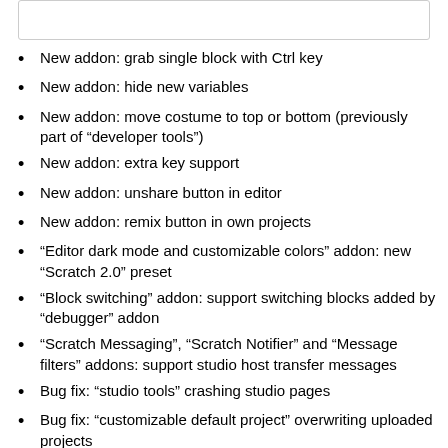New addon: grab single block with Ctrl key
New addon: hide new variables
New addon: move costume to top or bottom (previously part of “developer tools”)
New addon: extra key support
New addon: unshare button in editor
New addon: remix button in own projects
“Editor dark mode and customizable colors” addon: new “Scratch 2.0” preset
“Block switching” addon: support switching blocks added by “debugger” addon
“Scratch Messaging”, “Scratch Notifier” and “Message filters” addons: support studio host transfer messages
Bug fix: “studio tools” crashing studio pages
Bug fix: “customizable default project” overwriting uploaded projects